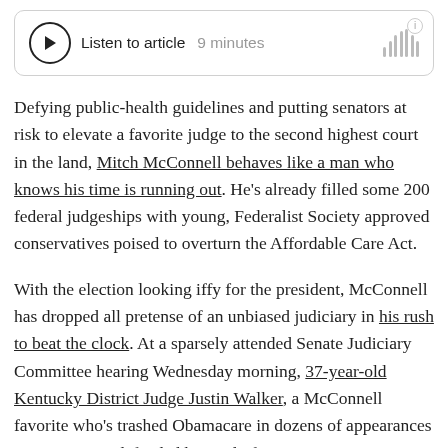[Figure (other): Audio player widget showing play button, 'Listen to article 9 minutes' label, and sound wave bars]
Defying public-health guidelines and putting senators at risk to elevate a favorite judge to the second highest court in the land, Mitch McConnell behaves like a man who knows his time is running out. He's already filled some 200 federal judgeships with young, Federalist Society approved conservatives poised to overturn the Affordable Care Act.
With the election looking iffy for the president, McConnell has dropped all pretense of an unbiased judiciary in his rush to beat the clock. At a sparsely attended Senate Judiciary Committee hearing Wednesday morning, 37-year-old Kentucky District Judge Justin Walker, a McConnell favorite who's trashed Obamacare in dozens of appearances on Fox News, defended his trail of